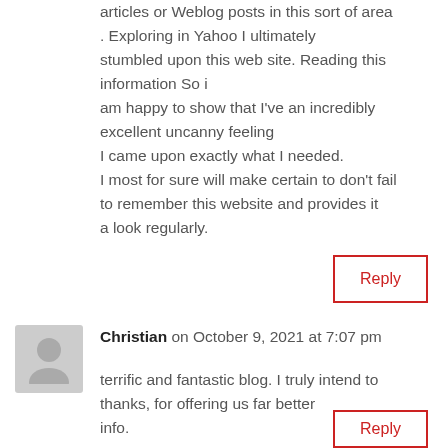articles or Weblog posts in this sort of area . Exploring in Yahoo I ultimately stumbled upon this web site. Reading this information So i am happy to show that I've an incredibly excellent uncanny feeling I came upon exactly what I needed. I most for sure will make certain to don't fail to remember this website and provides it a look regularly.
Reply
Christian on October 9, 2021 at 7:07 pm
terrific and fantastic blog. I truly intend to thanks, for offering us far better info.
Reply